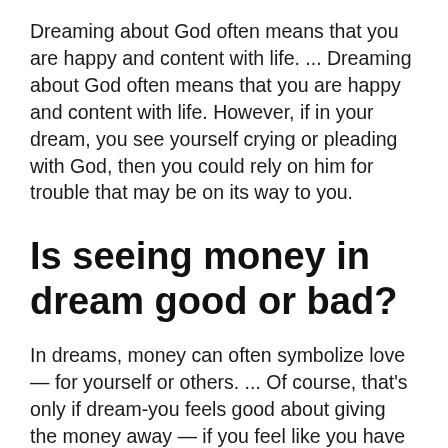Dreaming about God often means that you are happy and content with life. ... Dreaming about God often means that you are happy and content with life. However, if in your dream, you see yourself crying or pleading with God, then you could rely on him for trouble that may be on its way to you.
Is seeing money in dream good or bad?
In dreams, money can often symbolize love — for yourself or others. ... Of course, that's only if dream-you feels good about giving the money away — if you feel like you have to give your money away in your dream, but don't dig it, it could point to a fear of losing your own cash, or making bad financial